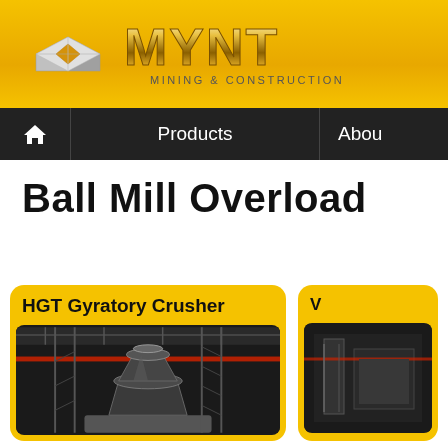[Figure (logo): MYNT Mining & Construction company logo with metallic cubic diamond icon and gold metallic text 'MYNT' with subtitle 'MINING & CONSTRUCTION' on yellow/gold gradient banner background]
Home | Products | About
Ball Mill Overload
[Figure (photo): HGT Gyratory Crusher product card with yellow rounded rectangle background showing title 'HGT Gyratory Crusher' and a dark photo of an industrial gyratory crusher machinery in a factory/plant setting]
[Figure (photo): Partially visible second product card on the right with yellow rounded rectangle background, showing a dark industrial machinery photo]